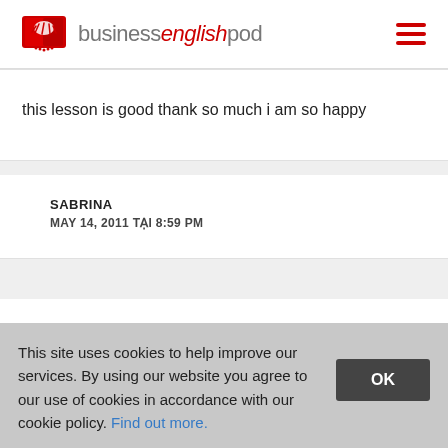businessenglishpod
this lesson is good thank so much i am so happy
SABRINA
MAY 14, 2011 TẠI 8:59 PM
This site uses cookies to help improve our services. By using our website you agree to our use of cookies in accordance with our cookie policy. Find out more.